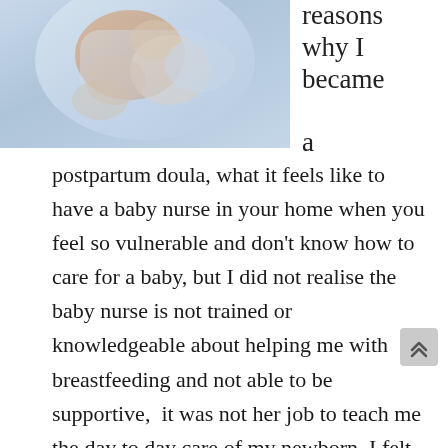[Figure (photo): Painted illustration of a person holding a baby, soft blue and skin-tone colors, appears to be a nursing or holding scene]
reasons why I became a postpartum doula, what it feels like to have a baby nurse in your home when you feel so vulnerable and don't know how to care for a baby, but I did not realise the baby nurse is not trained or knowledgeable about helping me with breastfeeding and not able to be supportive,  it was not her job to teach me the day to day care of my newborn, I felt left out caring for my baby, she would sit and rock my baby all day as my husband and I longed to care for our baby, we had to ask permission from the baby nurse to